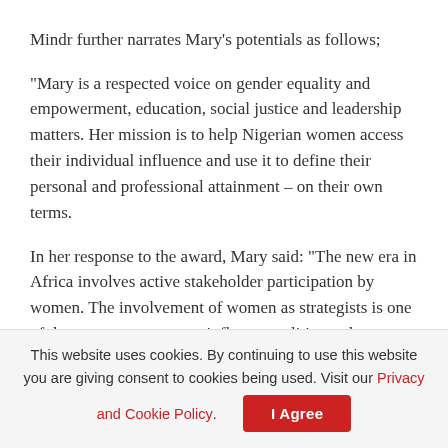Mindr further narrates Mary's potentials as follows;
“Mary is a respected voice on gender equality and empowerment, education, social justice and leadership matters. Her mission is to help Nigerian women access their individual influence and use it to define their personal and professional attainment – on their own terms.
In her response to the award, Mary said: “The new era in Africa involves active stakeholder participation by women. The involvement of women as strategists is one of the many ways we can influence politics and, more specifically, policymaking.”
Other names on the list for women who had joined...
This website uses cookies. By continuing to use this website you are giving consent to cookies being used. Visit our Privacy and Cookie Policy. I Agree